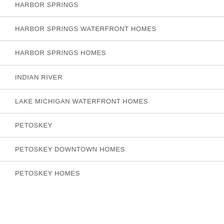HARBOR SPRINGS
HARBOR SPRINGS WATERFRONT HOMES
HARBOR SPRINGS HOMES
INDIAN RIVER
LAKE MICHIGAN WATERFRONT HOMES
PETOSKEY
PETOSKEY DOWNTOWN HOMES
PETOSKEY HOMES